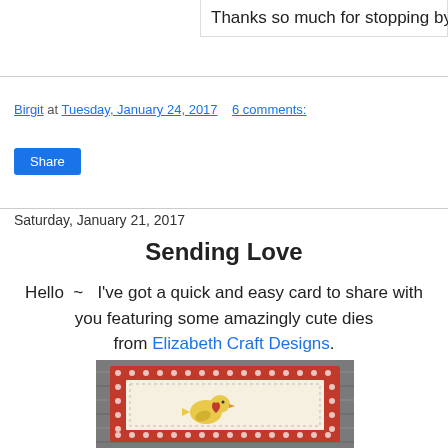Thanks so much for stopping by
Birgit at Tuesday, January 24, 2017   6 comments:
Share
Saturday, January 21, 2017
Sending Love
Hello ~  I've got a quick and easy card to share with you featuring some amazingly cute dies from Elizabeth Craft Designs.
[Figure (photo): A handmade card with a red polka-dot border on a wooden background, featuring a yellow bird with a red heart on a cream-colored card base.]